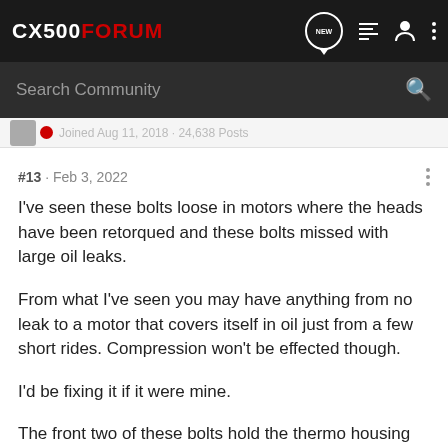CX500FORUM
Search Community
Joined Aug 11, 2018 · 24,638 Posts
#13 · Feb 3, 2022
I've seen these bolts loose in motors where the heads have been retorqued and these bolts missed with large oil leaks.
From what I've seen you may have anything from no leak to a motor that covers itself in oil just from a few short rides. Compression won't be effected though.
I'd be fixing it if it were mine.
The front two of these bolts hold the thermo housing and the rear two hold the airdam.